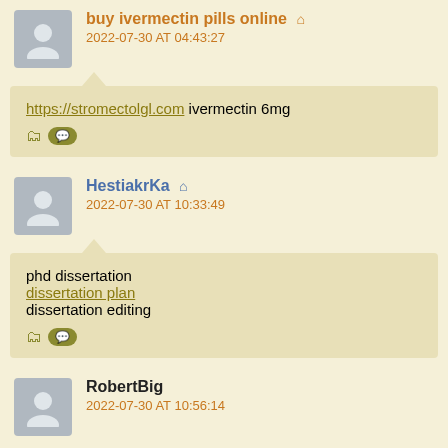buy ivermectin pills online 🏠 — 2022-07-30 AT 04:43:27
https://stromectolgl.com ivermectin 6mg
HestiakrKa 🏠 — 2022-07-30 AT 10:33:49
phd dissertation
dissertation plan
dissertation editing
RobertBig — 2022-07-30 AT 10:56:14